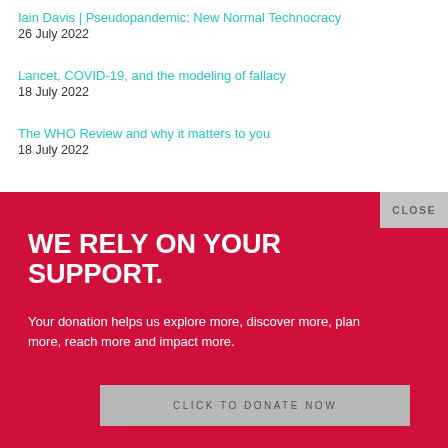Iain Davis | Pseudopandemic: New Normal Technocracy
26 July 2022
Lancet, COVID-19, and the modeling of fallacy
18 July 2022
The WHO Review and why it matters to you
18 July 2022
CLOSE
WE RELY ON YOUR SUPPORT.
Your donation helps us explore more, discover more, plan more, reach more and impact more.
CLICK TO DONATE NOW